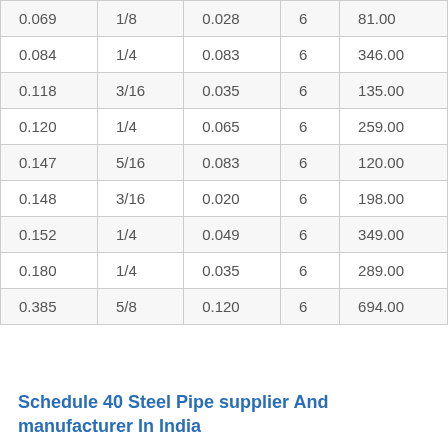| 0.069 | 1/8 | 0.028 | 6 | 81.00 |
| 0.084 | 1/4 | 0.083 | 6 | 346.00 |
| 0.118 | 3/16 | 0.035 | 6 | 135.00 |
| 0.120 | 1/4 | 0.065 | 6 | 259.00 |
| 0.147 | 5/16 | 0.083 | 6 | 120.00 |
| 0.148 | 3/16 | 0.020 | 6 | 198.00 |
| 0.152 | 1/4 | 0.049 | 6 | 349.00 |
| 0.180 | 1/4 | 0.035 | 6 | 289.00 |
| 0.385 | 5/8 | 0.120 | 6 | 694.00 |
Schedule 40 Steel Pipe supplier And manufacturer In India